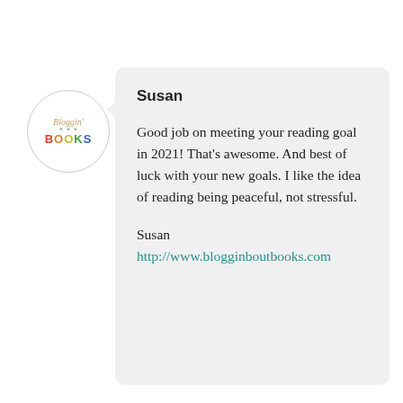[Figure (logo): Circular logo with 'Bloggin Books' text in multi-colored letters, italic script for 'Bloggin' and bold colored letters for 'BOOKS']
Susan

Good job on meeting your reading goal in 2021! That's awesome. And best of luck with your new goals. I like the idea of reading being peaceful, not stressful.

Susan
http://www.blogginboutbooks.com